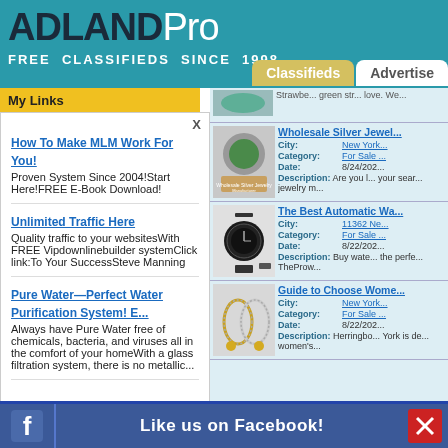ADLANDPro FREE CLASSIFIEDS SINCE 1998
My Links
How To Make MLM Work For You!
Proven System Since 2004!Start Here!FREE E-Book Download!
Unlimited Traffic Here
Quality traffic to your websitesWith FREE Vipdownlinebuilder systemClick link:To Your SuccessSteve Manning
Pure Water—Perfect Water Purification System! E...
Always have Pure Water free of chemicals, bacteria, and viruses all in the comfort of your homeWith a glass filtration system, there is no metallic...
Strawbe... green str... love. We...
Wholesale Silver Jewel...
City: New York
Category: For Sale
Date: 8/24/202...
Description: Are you l... your sear... jewelry m...
The Best Automatic Wa...
City: 11362 Ne...
Category: For Sale
Date: 8/22/202...
Description: Buy wate... the perfe... TheProw...
Guide to Choose Wome...
City: New York
Category: For Sale
Date: 8/22/202...
Description: Herringbo... York is de... women's...
Like us on Facebook!